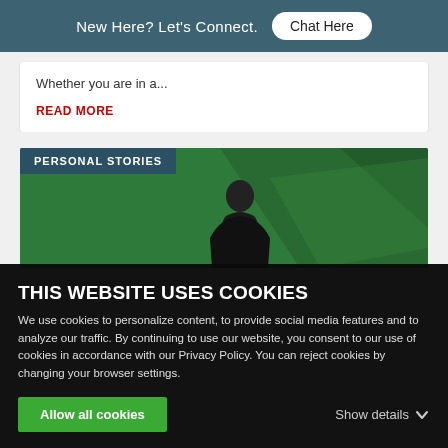New Here? Let's Connect. Chat Here
Whether you are in a...
READ MORE
PERSONAL STORIES
[Figure (photo): Person viewed from behind standing in front of a green geometric background]
THIS WEBSITE USES COOKIES
We use cookies to personalize content, to provide social media features and to analyze our traffic. By continuing to use our website, you consent to our use of cookies in accordance with our Privacy Policy. You can reject cookies by changing your browser settings.
Allow all cookies
Show details